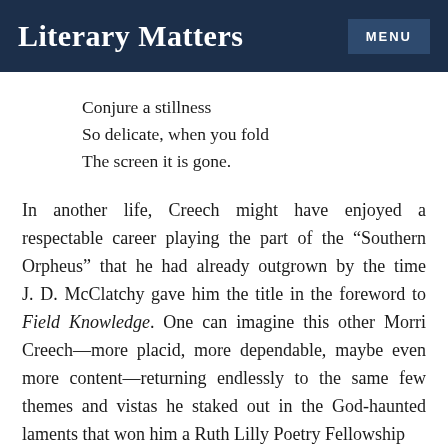Literary Matters | MENU
Conjure a stillness
So delicate, when you fold
The screen it is gone.
In another life, Creech might have enjoyed a respectable career playing the part of the “Southern Orpheus” that he had already outgrown by the time J. D. McClatchy gave him the title in the foreword to Field Knowledge. One can imagine this other Morri Creech—more placid, more dependable, maybe even more content—returning endlessly to the same few themes and vistas he staked out in the God-haunted laments that won him a Ruth Lilly Poetry Fellowship